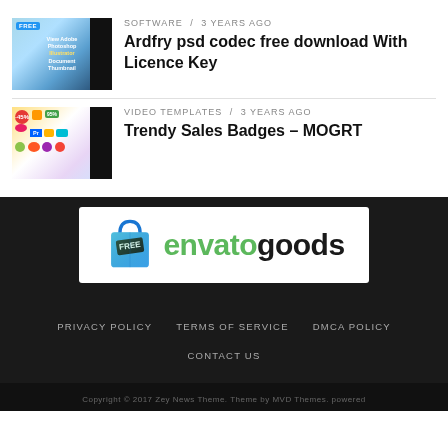SOFTWARE / 3 years ago
Ardfry psd codec free download With Licence Key
[Figure (screenshot): Thumbnail for Adobe Photoshop Illustrator document with FREE label and black bar on right]
VIDEO TEMPLATES / 3 years ago
Trendy Sales Badges – MOGRT
[Figure (screenshot): Thumbnail for Trendy Sales Badges with colorful badges and black bar on right]
[Figure (logo): Envatogoods banner logo with shopping bag icon labeled FREE, green 'envato' and black 'goods' text]
PRIVACY POLICY   TERMS OF SERVICE   DMCA POLICY   CONTACT US
Copyright © 2017 Zey News Theme. Theme by MVD Themes. powered